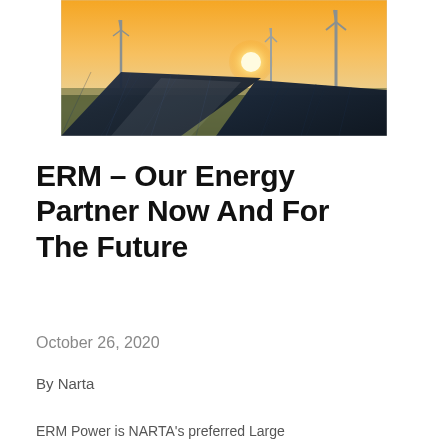[Figure (photo): Solar panels in foreground with wind turbines in background at golden hour sunset, renewable energy landscape]
ERM – Our Energy Partner Now And For The Future
October 26, 2020
By Narta
ERM Power is NARTA's preferred Large